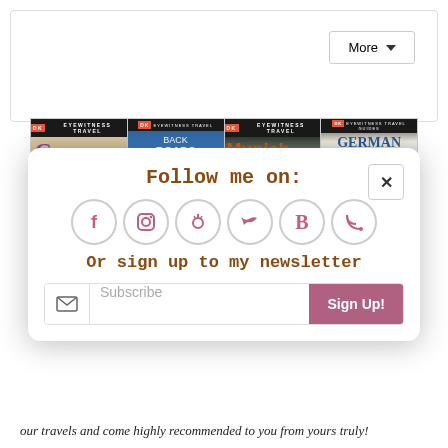[Figure (screenshot): More dropdown button in top right corner]
[Figure (screenshot): Four DK Eyewitness Travel book covers: Germany, Back Roads Germany, Munich & The Bavarian Alps, German Phrase Book]
[Figure (infographic): Modal popup with Follow me on: text, social media icons (Facebook, Instagram, Pinterest, Twitter, Bloglovin, RSS), newsletter signup with Subscribe input and Sign Up button]
our travels and come highly recommended to you from yours truly!